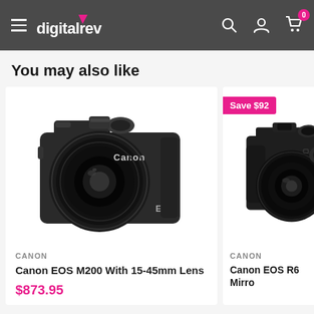digitalrev navigation bar
You may also like
[Figure (photo): Canon EOS M200 mirrorless camera with 15-45mm lens, black, front view showing lens and Canon EOS branding]
CANON
Canon EOS M200 With 15-45mm Lens
$873.95
[Figure (photo): Canon EOS R6 mirrorless camera with lens, black, partially visible on right side of page, Save $92 badge]
CANON
Canon EOS R6 Mirro